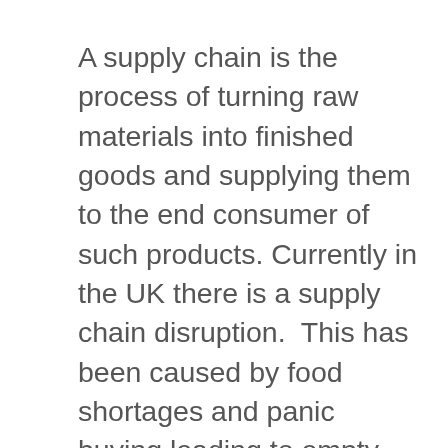A supply chain is the process of turning raw materials into finished goods and supplying them to the end consumer of such products. Currently in the UK there is a supply chain disruption.  This has been caused by food shortages and panic buying leading to empty supermarket shelves, fuel shortages, high energy prices, and general supply problems. Companies like BP,¹ Ikea,² Tesla,³ AstraZeneca⁴ are complaining about delays in supplies and reduced production capacity.  With 17% of British population having experienced food shortages, and a further 37% of the population being unable to get fuel,⁵ the majority of the population in UK has been affected by supply chain disruptions. This has led to largest hikes in fuel prices, today at 159.6p/litre due to shortage of tanker